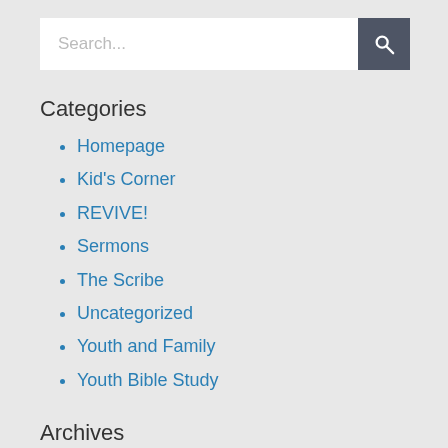Search...
Categories
Homepage
Kid's Corner
REVIVE!
Sermons
The Scribe
Uncategorized
Youth and Family
Youth Bible Study
Archives